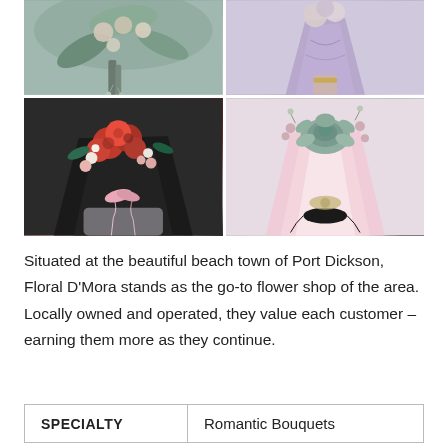[Figure (photo): A 2x2 grid of flower bouquet photos: top-left shows a gray-green floral arrangement, top-right shows a purple/lavender wrapped bouquet, bottom-left shows a woman holding a red roses bouquet in black wrapping with pink ribbon, bottom-right shows a succulent and dried flower bouquet in pink wrapping with black ribbon tie.]
Situated at the beautiful beach town of Port Dickson, Floral D'Mora stands as the go-to flower shop of the area. Locally owned and operated, they value each customer – earning them more as they continue.
| SPECIALTY | Romantic Bouquets |
| --- | --- |